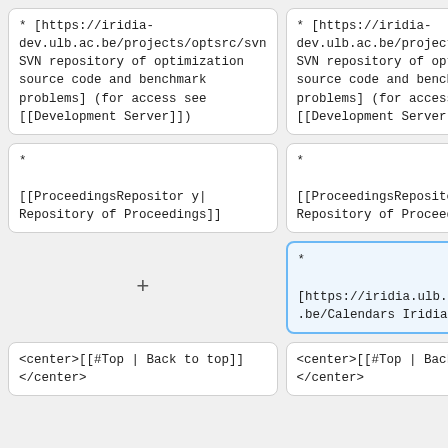* [https://iridia-dev.ulb.ac.be/projects/optsrc/svn SVN repository of optimization source code and benchmark problems] (for access see [[Development Server]])
* [https://iridia-dev.ulb.ac.be/projects/optsrc/svn SVN repository of optimization source code and benchmark problems] (for access see [[Development Server]])
* [[ProceedingsRepository| Repository of Proceedings]]
* [[ProceedingsRepository| Repository of Proceedings]]
+
* [https://iridia.ulb.ac.be/Calendars Iridia Calendars]
<center>[[#Top | Back to top]]</center>
<center>[[#Top | Back to top]]</center>